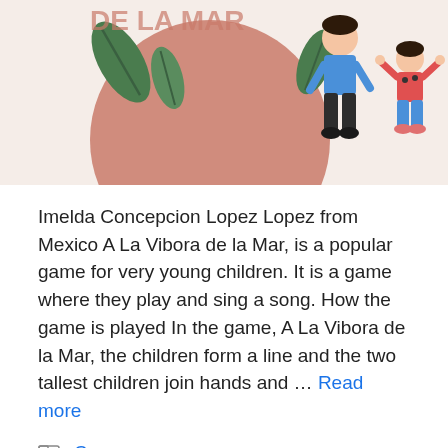[Figure (illustration): Illustrated children playing a game, with a large terracotta circle, tropical leaves, and cartoon figures of children on a light beige background]
Imelda Concepcion Lopez Lopez from Mexico A La Vibora de la Mar, is a popular game for very young children. It is a game where they play and sing a song. How the game is played In the game, A La Vibora de la Mar, the children form a line and the two tallest children join hands and … Read more
Games
A La Vibora de la Mar, How To Play, London Bridge Game, Singing Game